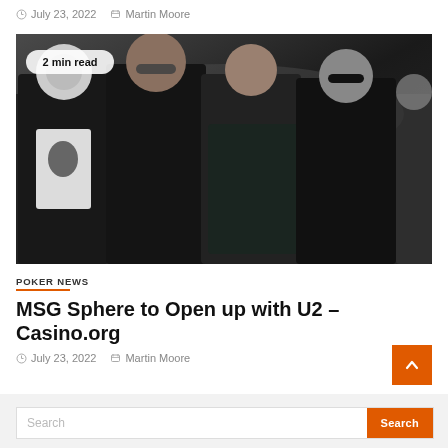July 23, 2022   Martin Moore
[Figure (photo): Group photo of four men dressed in dark clothing posing together, with '2 min read' badge overlay in top-left corner]
POKER NEWS
MSG Sphere to Open up with U2 – Casino.org
July 23, 2022   Martin Moore